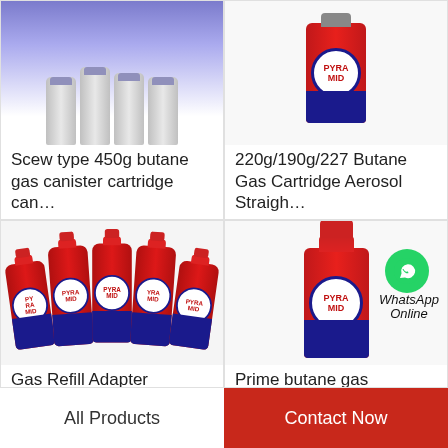[Figure (photo): Screw type butane gas canisters shown from top/side angle, blue-purple gradient background]
Scew type 450g butane gas canister cartridge can…
[Figure (photo): 220g/190g/227 red Pyramid butane gas cartridge aerosol straight can]
220g/190g/227 Butane Gas Cartridge Aerosol Straigh…
[Figure (photo): Group of red Pyramid brand butane gas canisters arranged together]
Gas Refill Adapter Outdoor 227g Portable butane gas…
[Figure (photo): Single red Pyramid butane gas canister with WhatsApp Online overlay]
Prime butane gas cartridge and butane gas canister…
All Products
Contact Now